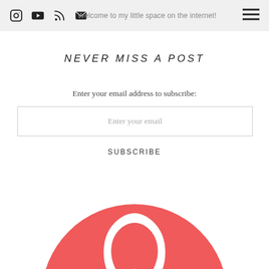Welcome to my little space on the internet!
NEVER MISS A POST
Enter your email address to subscribe:
Enter your email
SUBSCRIBE
[Figure (logo): Airbnb logo — white Airbnb 'Bélo' symbol on a coral/salmon red circle background, partially cropped at bottom of page]